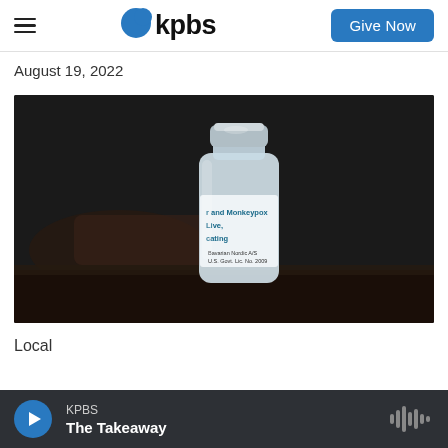KPBS — Give Now
August 19, 2022
[Figure (photo): Close-up photo of a glass vaccine vial with a silver metallic cap on a dark background. The label on the vial reads 'and Monkeypox Live, cating' (partial text visible) and 'Bavarian Nordic A/S U.S. Govt. Lic. No. 2009'.]
Local
KPBS — The Takeaway (audio player bar)